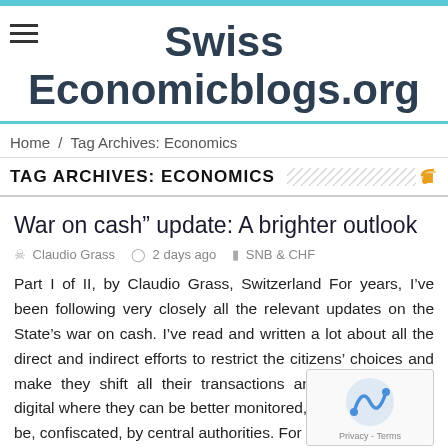Swiss Economicblogs.org
Home / Tag Archives: Economics
TAG ARCHIVES: ECONOMICS
War on cash” update: A brighter outlook
Claudio Grass   2 days ago   SNB & CHF
Part I of II, by Claudio Grass, Switzerland For years, I’ve been following very closely all the relevant updates on the State’s war on cash. I’ve read and written a lot about all the direct and indirect efforts to restrict the citizens’ choices and make they shift all their transactions and savings to the digital where they can be better monitored, controlled and if n be, confiscated, by central authorities. For some time now